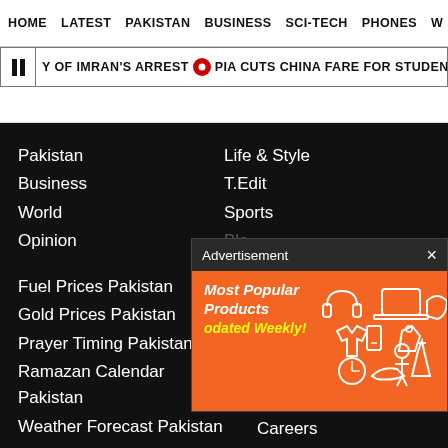HOME  LATEST  PAKISTAN  BUSINESS  SCI-TECH  PHONES  W
Y OF IMRAN'S ARREST  •  PIA CUTS CHINA FARE FOR STUDENTS  •  PUNJAB MINIS
Pakistan
Business
World
Opinion
Life & Style
T.Edit
Sports
Fuel Prices Pakistan
Gold Prices Pakistan
Prayer Timing Pakistan
Ramazan Calendar Pakistan
Weather Forecast Pakistan
[Figure (infographic): Advertisement popup with orange background showing 'Most Popular Products Updated Weekly!' with white icons of tech/shopping products]
Subscribe to the Paper
Contact Us
Careers